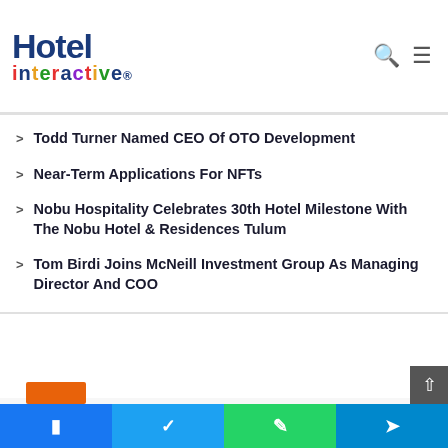Hotel interactive
Todd Turner Named CEO Of OTO Development
Near-Term Applications For NFTs
Nobu Hospitality Celebrates 30th Hotel Milestone With The Nobu Hotel & Residences Tulum
Tom Birdi Joins McNeill Investment Group As Managing Director And COO
A special thank you to our sponsors
[Figure (logo): HP Hotels logo with tagline EXPERIENCE MATTERS]